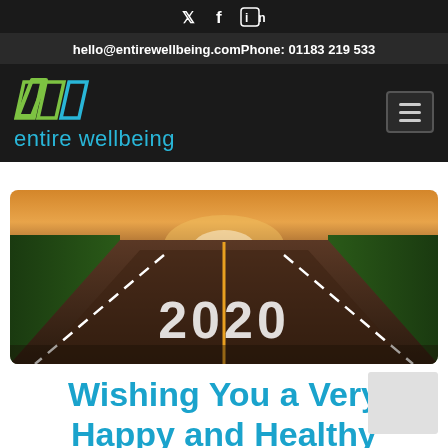social icons: twitter, facebook, linkedin
hello@entirewellbeing.comPhone: 01183 219 533
[Figure (logo): Entire Wellbeing logo with stylized chevron mark in green/teal and text 'entire wellbeing' in cyan, on dark background with hamburger menu button]
[Figure (photo): Road stretching into distance with '2020' painted on the asphalt, flanked by green trees and golden sunrise light]
Wishing You a Very Happy and Healthy